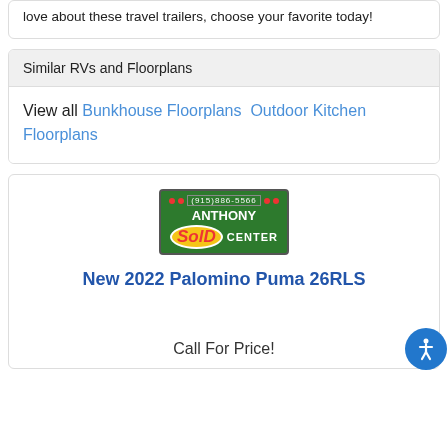love about these travel trailers, choose your favorite today!
Similar RVs and Floorplans
View all Bunkhouse Floorplans  Outdoor Kitchen Floorplans
[Figure (logo): Anthony Sold Center logo with phone number (915)886-5566 on green background]
New 2022 Palomino Puma 26RLS
Call For Price!